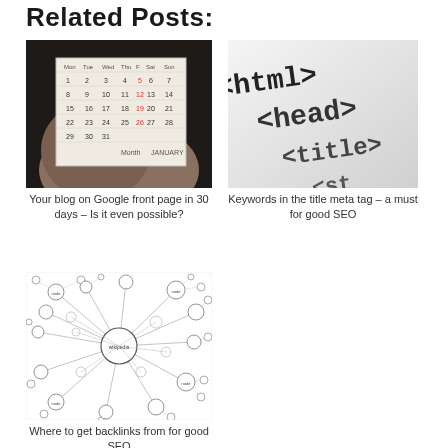Related Posts:
[Figure (photo): A hand holding a small paper calendar showing January dates]
Your blog on Google front page in 30 days – Is it even possible?
[Figure (photo): Close-up of HTML code text showing <html>, <head>, <title>, <st... tags in monospace font on white background]
Keywords in the title meta tag – a must for good SEO
[Figure (network-graph): A network graph/diagram showing interconnected nodes with labels, depicting backlink relationships]
Where to get backlinks from for good SEO